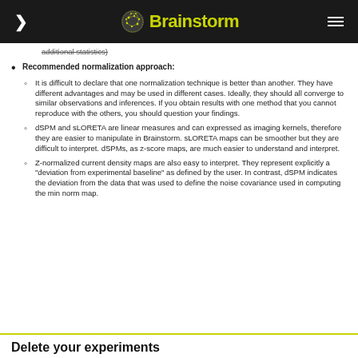Brainstorm
Avoid averaging normalized maps (or computing any additional statistics)
Recommended normalization approach:
It is difficult to declare that one normalization technique is better than another. They have different advantages and may be used in different cases. Ideally, they should all converge to similar observations and inferences. If you obtain results with one method that you cannot reproduce with the others, you should question your findings.
dSPM and sLORETA are linear measures and can expressed as imaging kernels, therefore they are easier to manipulate in Brainstorm. sLORETA maps can be smoother but they are difficult to interpret. dSPMs, as z-score maps, are much easier to understand and interpret.
Z-normalized current density maps are also easy to interpret. They represent explicitly a "deviation from experimental baseline" as defined by the user. In contrast, dSPM indicates the deviation from the data that was used to define the noise covariance used in computing the min norm map.
Delete your experiments